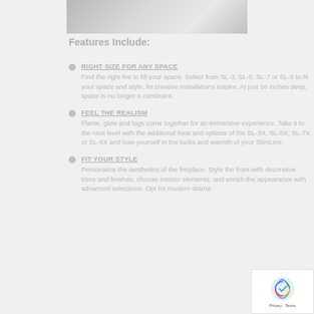[Figure (photo): Partial photo of a fireplace or appliance, cropped at top]
Features Include:
RIGHT SIZE FOR ANY SPACE — Find the right fire to fill your space. Select from SL-3, SL-5, SL-7 or SL-9 to fit your space and style, let creative installations inspire. At just 16 inches deep, space is no longer a constraint.
FEEL THE REALISM — Flame, glow and logs come together for an immersive experience. Take it to the next level with the additional heat and options of the SL-3X, SL-5X, SL-7X or SL-9X and lose yourself in the looks and warmth of your SlimLine.
FIT YOUR STYLE — Personalize the aesthetics of the fireplace. Style the front with decorative trims and finishes, choose interior elements, and enrich the appearance with advanced selections. Opt for modern drama...